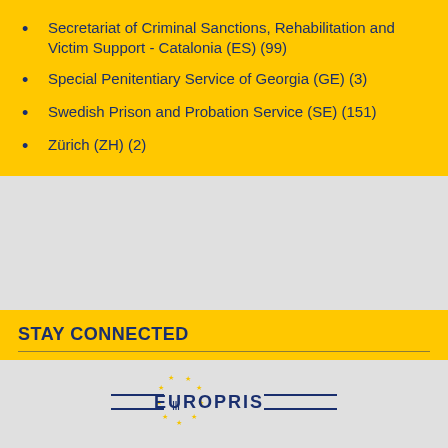Secretariat of Criminal Sanctions, Rehabilitation and Victim Support - Catalonia (ES) (99)
Special Penitentiary Service of Georgia (GE) (3)
Swedish Prison and Probation Service (SE) (151)
Zürich (ZH) (2)
STAY CONNECTED
Follow us on LinkedIn
Subscribe to our Newsletter
[Figure (logo): EUROPRIS logo with stars forming a circle and horizontal lines on either side of the text]